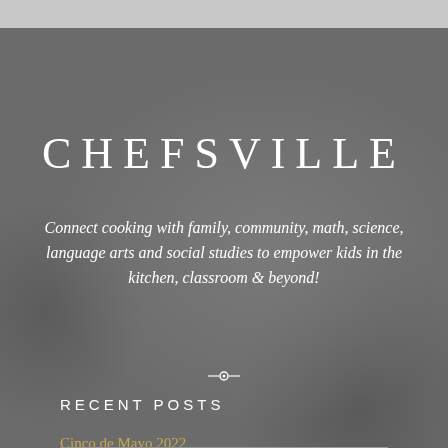CHEFSVILLE
Connect cooking with family, community, math, science, language arts and social studies to empower kids in the kitchen, classroom & beyond!
RECENT POSTS
Cinco de Mayo 2022